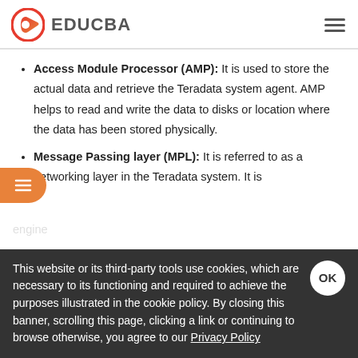EDUCBA
Access Module Processor (AMP): It is used to store the actual data and retrieve the Teradata system agent. AMP helps to read and write the data to disks or location where the data has been stored physically.
Message Passing layer (MPL): It is referred to as a networking layer in the Teradata system. It is
This website or its third-party tools use cookies, which are necessary to its functioning and required to achieve the purposes illustrated in the cookie policy. By closing this banner, scrolling this page, clicking a link or continuing to browse otherwise, you agree to our Privacy Policy
to as the individual server and basic unit for the